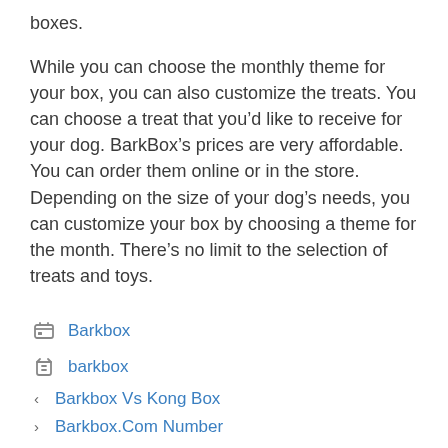boxes.
While you can choose the monthly theme for your box, you can also customize the treats. You can choose a treat that you’d like to receive for your dog. BarkBox’s prices are very affordable. You can order them online or in the store. Depending on the size of your dog’s needs, you can customize your box by choosing a theme for the month. There’s no limit to the selection of treats and toys.
Barkbox
barkbox
< Barkbox Vs Kong Box
> Barkbox.Com Number